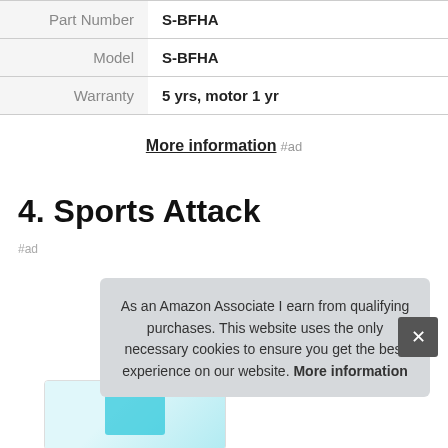|  |  |
| --- | --- |
| Part Number | S-BFHA |
| Model | S-BFHA |
| Warranty | 5 yrs, motor 1 yr |
More information #ad
4. Sports Attack
#ad
As an Amazon Associate I earn from qualifying purchases. This website uses the only necessary cookies to ensure you get the best experience on our website. More information